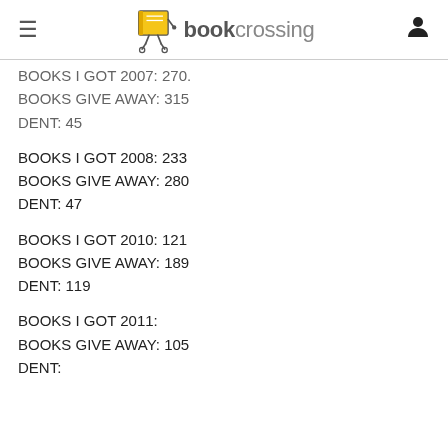bookcrossing
BOOKS I GOT 2007: 270.
BOOKS GIVE AWAY: 315
DENT: 45
BOOKS I GOT 2008: 233
BOOKS GIVE AWAY: 280
DENT: 47
BOOKS I GOT 2010: 121
BOOKS GIVE AWAY: 189
DENT: 119
BOOKS I GOT 2011:
BOOKS GIVE AWAY: 105
DENT: